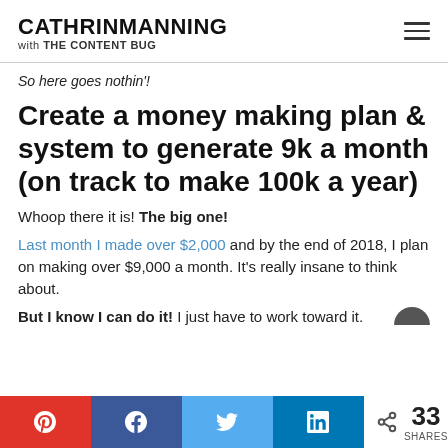CATHRIN MANNING with THE CONTENT BUG
So here goes nothin'!
Create a money making plan & system to generate 9k a month (on track to make 100k a year)
Whoop there it is! The big one!
Last month I made over $2,000 and by the end of 2018, I plan on making over $9,000 a month. It's really insane to think about.
But I know I can do it! I just have to work toward it.